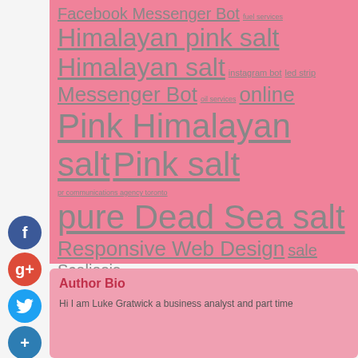Facebook Messenger Bot fuel services Himalayan pink salt Himalayan salt instagram bot led strip Messenger Bot oil services online Pink Himalayan salt Pink salt pr communications agency toronto pure Dead Sea salt Responsive Web Design sale Scoliosis scoliosis pain SEO Services services sms marketing platform sms service australia t-shirt talcum powder cancer truck station truffle salt truffle sea salt web design web design company web design services Website website chatbot Website Designer Near Me
Author Bio
Hi I am Luke Gratwick a business analyst and part time